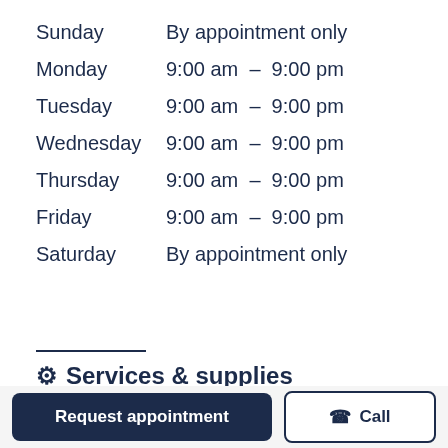| Day | Hours |
| --- | --- |
| Sunday | By appointment only |
| Monday | 9:00 am  –  9:00 pm |
| Tuesday | 9:00 am  –  9:00 pm |
| Wednesday | 9:00 am  –  9:00 pm |
| Thursday | 9:00 am  –  9:00 pm |
| Friday | 9:00 am  –  9:00 pm |
| Saturday | By appointment only |
Services & supplies
Active release technique
Acupuncture